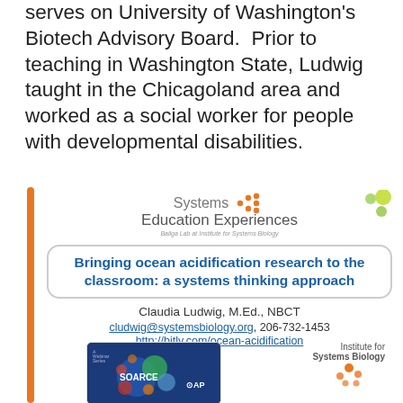serves on University of Washington's Biotech Advisory Board.  Prior to teaching in Washington State, Ludwig taught in the Chicagoland area and worked as a social worker for people with developmental disabilities.
[Figure (logo): Systems Education Experiences logo with orange dots and green circles, subtitle: Baliga Lab at Institute for Systems Biology]
Bringing ocean acidification research to the classroom: a systems thinking approach
Claudia Ludwig, M.Ed., NBCT
cludwig@systemsbiology.org, 206-732-1453
http://bitly.com/ocean-acidification
[Figure (screenshot): SOARCE webinar series image with colorful bubbles on blue background, AP label]
[Figure (logo): Institute for Systems Biology logo with orange hexagon dots]